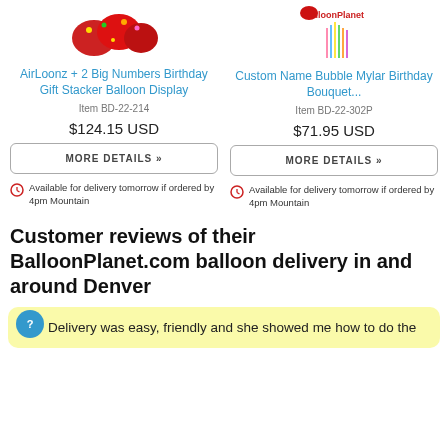[Figure (photo): Red foil balloon display product image for AirLoonz + 2 Big Numbers Birthday Gift Stacker Balloon Display]
[Figure (logo): BalloonPlanet logo and colorful balloon sticks image]
AirLoonz + 2 Big Numbers Birthday Gift Stacker Balloon Display
Custom Name Bubble Mylar Birthday Bouquet...
Item BD-22-214
Item BD-22-302P
$124.15 USD
$71.95 USD
MORE DETAILS »
MORE DETAILS »
Available for delivery tomorrow if ordered by 4pm Mountain
Available for delivery tomorrow if ordered by 4pm Mountain
Customer reviews of their BalloonPlanet.com balloon delivery in and around Denver
Delivery was easy, friendly and she showed me how to do the